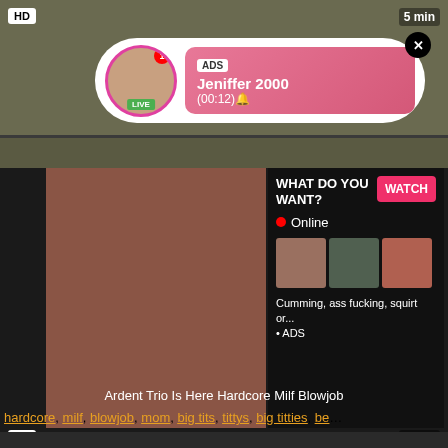[Figure (screenshot): Top video thumbnail with HD badge and duration, dark olive background]
[Figure (screenshot): Ad popup overlay with avatar, LIVE badge, notification dot, ADS label, name Jeniffer 2000, time (00:12), pink gradient background, close X button]
teen, hardcore, ..., big, free...
[Figure (screenshot): Second video thumbnail showing woman, with ad panel: WHAT DO YOU WANT? WATCH button, Online indicator, three mini thumbnails, text Cumming ass fucking squirt or... ADS]
HD
5 min
Ardent Trio Is Here Hardcore Milf Blowjob
hardcore, milf, blowjob, mom, big tits, tittys, big titties, be...
[Figure (screenshot): Bottom partial video thumbnail, dark background]